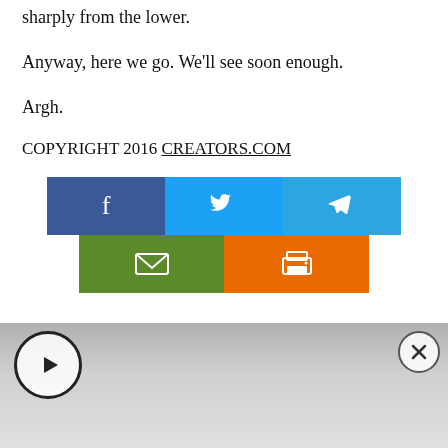sharply from the lower.
Anyway, here we go. We’ll see soon enough.
Argh.
COPYRIGHT 2016 CREATORS.COM
[Figure (infographic): Social share buttons: Facebook (blue), Twitter (light blue), Telegram (blue), Email (green), Print (orange)]
[Figure (photo): Video player thumbnail with play button and close button, showing a blurred photo background]